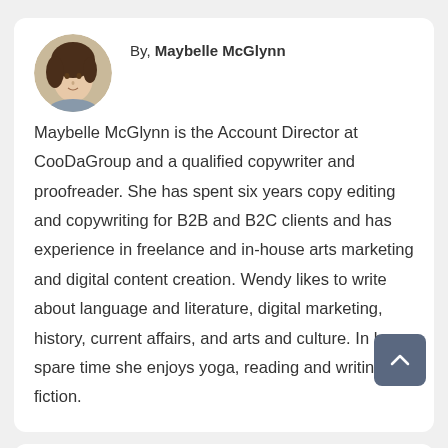By, Maybelle McGlynn
Maybelle McGlynn is the Account Director at CooDaGroup and a qualified copywriter and proofreader. She has spent six years copy editing and copywriting for B2B and B2C clients and has experience in freelance and in-house arts marketing and digital content creation. Wendy likes to write about language and literature, digital marketing, history, current affairs, and arts and culture. In her spare time she enjoys yoga, reading and writing fiction.
[Figure (photo): Circular avatar photo of Maybelle McGlynn, a woman with dark brown wavy hair]
Related Reviews
[Figure (photo): Small thumbnail image labeled Best Shipping]
Best shipping label printer